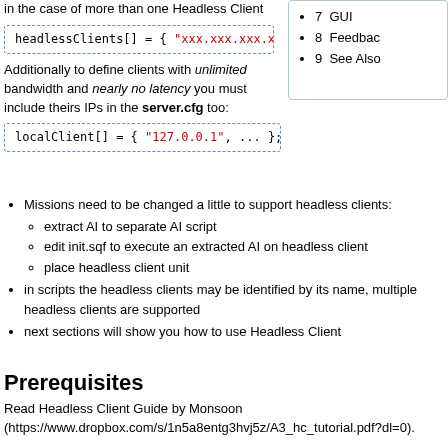in the case of more than one Headless Client
[Figure (screenshot): Code block: headlessClients[] = { "xxx.xxx.xxx.xxx",]
Additionally to define clients with unlimited bandwidth and nearly no latency you must include theirs IPs in the server.cfg too:
[Figure (screenshot): Code block: localClient[] = { "127.0.0.1", ... };]
Missions need to be changed a little to support headless clients:
extract AI to separate AI script
edit init.sqf to execute an extracted AI on headless client
place headless client unit
in scripts the headless clients may be identified by its name, multiple headless clients are supported
next sections will show you how to use Headless Client
7  GUI
8  Feedback
9  See Also
Prerequisites
Read Headless Client Guide by Monsoon (https://www.dropbox.com/s/1n5a8entg3hvj5z/A3_hc_tutorial.pdf?dl=0).